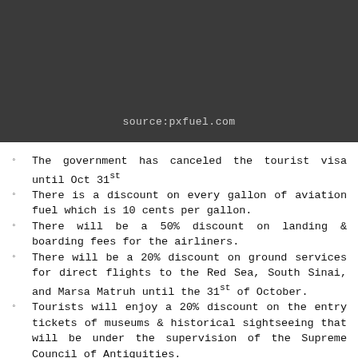[Figure (photo): Dark background image with watermark text 'source:pxfuel.com' at the bottom center]
The government has canceled the tourist visa until Oct 31st
There is a discount on every gallon of aviation fuel which is 10 cents per gallon.
There will be a 50% discount on landing & boarding fees for the airliners.
There will be a 20% discount on ground services for direct flights to the Red Sea, South Sinai, and Marsa Matruh until the 31st of October.
Tourists will enjoy a 20% discount on the entry tickets of museums & historical sightseeing that will be under the supervision of the Supreme Council of Antiquities.
There are other discounts for travelers who are going to